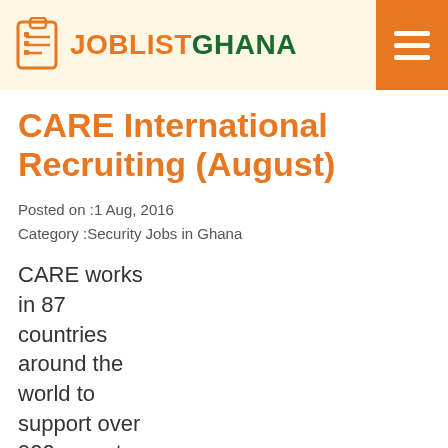JOBLIST GHANA
CARE International Recruiting (August)
Posted on :1 Aug, 2016
Category :Security Jobs in Ghana
CARE works in 87 countries around the world to support over 900 poverty-fighting development and